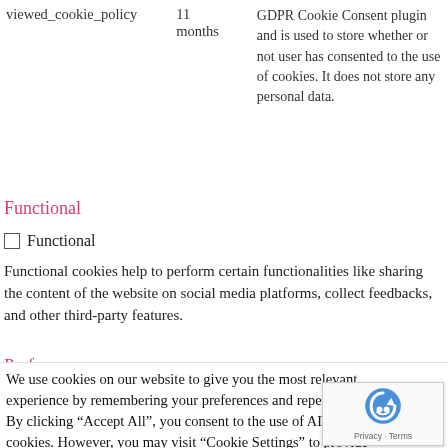| Cookie | Duration | Description |
| --- | --- | --- |
| viewed_cookie_policy | 11 months | GDPR Cookie Consent plugin and is used to store whether or not user has consented to the use of cookies. It does not store any personal data. |
Functional
☐ Functional
Functional cookies help to perform certain functionalities like sharing the content of the website on social media platforms, collect feedbacks, and other third-party features.
Performance
We use cookies on our website to give you the most relevant experience by remembering your preferences and repeat visits. By clicking "Accept All", you consent to the use of ALL the cookies. However, you may visit "Cookie Settings" to provide a controlled consent.
Cookie Settings  Accept All
[Figure (logo): reCAPTCHA badge with robot icon and Privacy - Terms links]